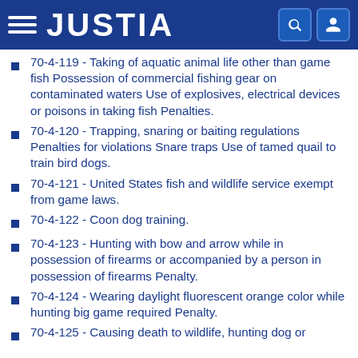JUSTIA
70-4-119 - Taking of aquatic animal life other than game fish Possession of commercial fishing gear on contaminated waters Use of explosives, electrical devices or poisons in taking fish Penalties.
70-4-120 - Trapping, snaring or baiting regulations Penalties for violations Snare traps Use of tamed quail to train bird dogs.
70-4-121 - United States fish and wildlife service exempt from game laws.
70-4-122 - Coon dog training.
70-4-123 - Hunting with bow and arrow while in possession of firearms or accompanied by a person in possession of firearms Penalty.
70-4-124 - Wearing daylight fluorescent orange color while hunting big game required Penalty.
70-4-125 - Causing death to wildlife, hunting dog or